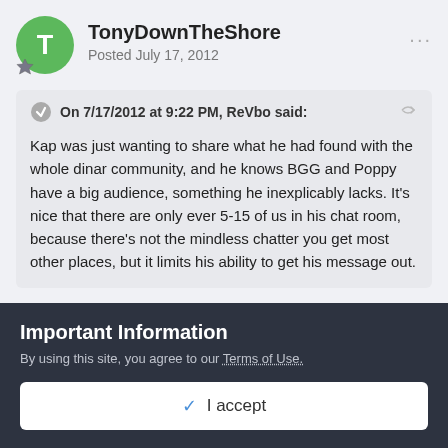TonyDownTheShore
Posted July 17, 2012
On 7/17/2012 at 9:22 PM, ReVbo said:
Kap was just wanting to share what he had found with the whole dinar community, and he knows BGG and Poppy have a big audience, something he inexplicably lacks. It's nice that there are only ever 5-15 of us in his chat room, because there's not the mindless chatter you get most other places, but it limits his ability to get his message out.
I understand that when you have good infomation to share you want to reach as many as possible, what would you think of
Important Information
By using this site, you agree to our Terms of Use.
I accept